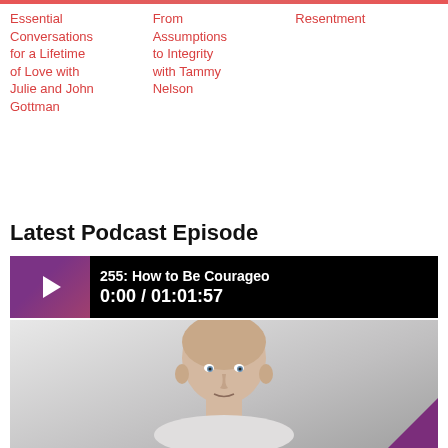Essential Conversations for a Lifetime of Love with Julie and John Gottman
From Assumptions to Integrity with Tammy Nelson
Resentment
Latest Podcast Episode
[Figure (screenshot): Podcast audio player showing episode '255: How to Be Courageous' with time 0:00 / 01:01:57]
[Figure (photo): Headshot of a bald man with blue eyes against a light grey background, with a purple triangle accent in the bottom right corner]